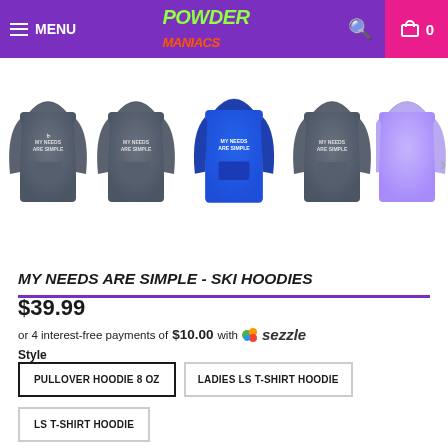MENU | POWDER MANIACS | cart 0
[Figure (photo): Row of five ski hoodies: four dark gray and one royal blue (center/highlighted), all with 'MY NEEDS ARE SIMPLE' text on the chest. A partially visible lavender hoodie appears on the right edge.]
MY NEEDS ARE SIMPLE - SKI HOODIES
$39.99
or 4 interest-free payments of $10.00 with sezzle
Style
PULLOVER HOODIE 8 OZ
LADIES LS T-SHIRT HOODIE
LS T-SHIRT HOODIE